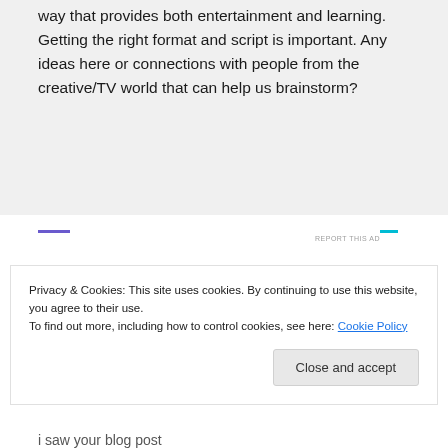way that provides both entertainment and learning. Getting the right format and script is important. Any ideas here or connections with people from the creative/TV world that can help us brainstorm?
[Figure (other): Ad banner with purple and cyan accent lines and 'REPORT THIS AD' text]
Privacy & Cookies: This site uses cookies. By continuing to use this website, you agree to their use.
To find out more, including how to control cookies, see here: Cookie Policy
Close and accept
i saw your blog post